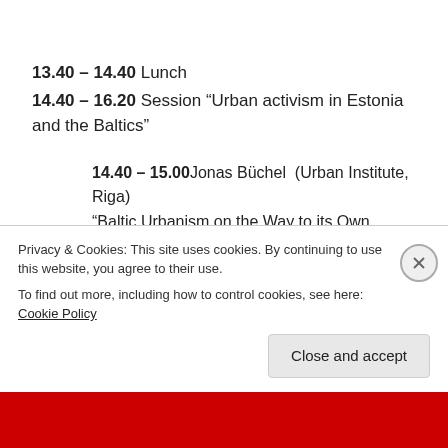13.40 – 14.40 Lunch
14.40 – 16.20 Session “Urban activism in Estonia and the Baltics”
14.40 – 15.00 Jonas Büchel  (Urban Institute, Riga) “Baltic Urbanism on the Way to its Own Profile. INURA_meeting_2012_Monday_08_Jonas_Buechel_with_intro_Andres_Kurg.mp3 15.00 – 15.20 Teele Pehk (Linnalabor, Estonia) “Neutral agent, critical
Privacy & Cookies: This site uses cookies. By continuing to use this website, you agree to their use.
To find out more, including how to control cookies, see here: Cookie Policy